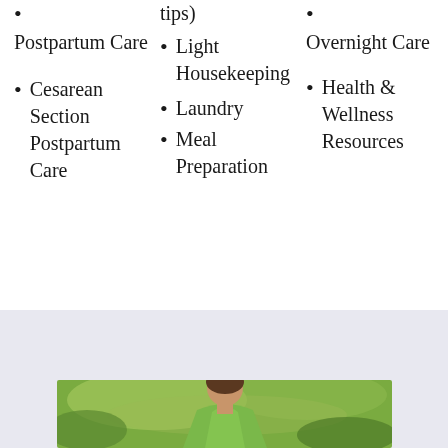Postpartum Care
Cesarean Section Postpartum Care
tips)
Light Housekeeping
Laundry
Meal Preparation
Overnight Care
Health & Wellness Resources
[Figure (photo): Woman in green shirt outdoors with green foliage background]